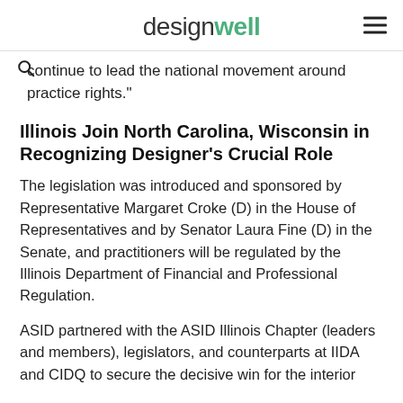designwell
continue to lead the national movement around practice rights."
Illinois Join North Carolina, Wisconsin in Recognizing Designer's Crucial Role
The legislation was introduced and sponsored by Representative Margaret Croke (D) in the House of Representatives and by Senator Laura Fine (D) in the Senate, and practitioners will be regulated by the Illinois Department of Financial and Professional Regulation.
ASID partnered with the ASID Illinois Chapter (leaders and members), legislators, and counterparts at IIDA and CIDQ to secure the decisive win for the interior